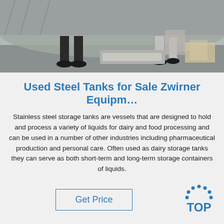[Figure (photo): Workshop/factory floor scene showing two people's legs and feet near a large object covered with a tarpaulin, with metal equipment and materials on the concrete floor.]
Used Steel Tanks for Sale Zwirner Equipm…
Stainless steel storage tanks are vessels that are designed to hold and process a variety of liquids for dairy and food processing and can be used in a number of other industries including pharmaceutical production and personal care. Often used as dairy storage tanks they can serve as both short-term and long-term storage containers of liquids.
[Figure (logo): TOP logo — blue dotted arc above the word TOP in blue, with the letter O replaced by a circle of dots.]
[Figure (photo): Partial bottom strip showing a colorful industrial/metallic scene.]